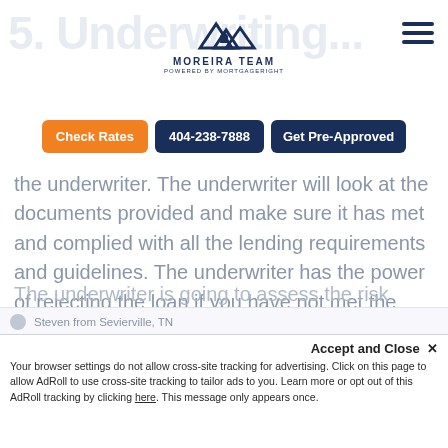5. Underwriting — Moreira Team logo header with navigation buttons
[Figure (logo): Moreira Team logo — house/mountain icon above text MOREIRA TEAM POWERED BY MORTGAGERIGHT]
Check Rates   404-238-7888   Get Pre-Approved
the underwriter. The underwriter will look at the documents provided and make sure it has met and complied with all the lending requirements and guidelines. The underwriter has the power of rejecting the loan if you have not met the criteria.
The underwriter is going to assess the risk
Steven from Sevierville, TN
Accept and Close ✕
Your browser settings do not allow cross-site tracking for advertising. Click on this page to allow AdRoll to use cross-site tracking to tailor ads to you. Learn more or opt out of this AdRoll tracking by clicking here. This message only appears once.